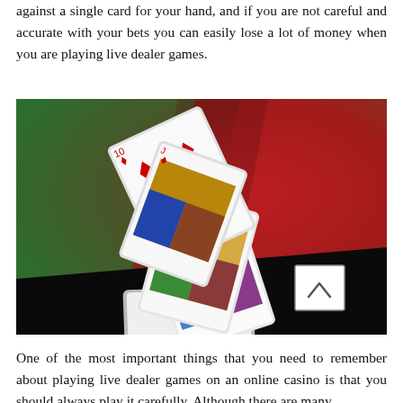against a single card for your hand, and if you are not careful and accurate with your bets you can easily lose a lot of money when you are playing live dealer games.
[Figure (photo): Photograph of playing cards falling/stacked against a green and red gradient background with a black surface below. Cards include face cards and diamond suit cards. A small white square with an upward chevron arrow is visible in the lower right of the image.]
One of the most important things that you need to remember about playing live dealer games on an online casino is that you should always play it carefully. Although there are many